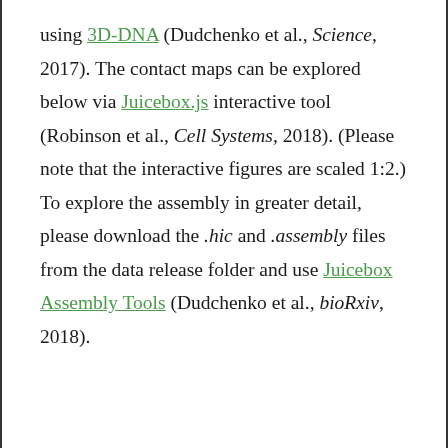using 3D-DNA (Dudchenko et al., Science, 2017). The contact maps can be explored below via Juicebox.js interactive tool (Robinson et al., Cell Systems, 2018). (Please note that the interactive figures are scaled 1:2.) To explore the assembly in greater detail, please download the .hic and .assembly files from the data release folder and use Juicebox Assembly Tools (Dudchenko et al., bioRxiv, 2018).